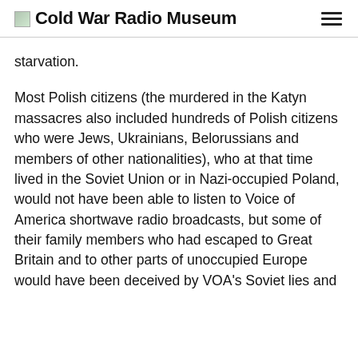Cold War Radio Museum
starvation.
Most Polish citizens (the murdered in the Katyn massacres also included hundreds of Polish citizens who were Jews, Ukrainians, Belorussians and members of other nationalities), who at that time lived in the Soviet Union or in Nazi-occupied Poland, would not have been able to listen to Voice of America shortwave radio broadcasts, but some of their family members who had escaped to Great Britain and to other parts of unoccupied Europe would have been deceived by VOA's Soviet lies and